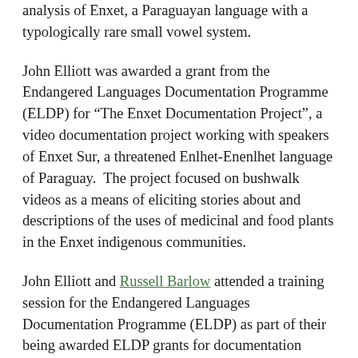analysis of Enxet, a Paraguayan language with a typologically rare small vowel system.
John Elliott was awarded a grant from the Endangered Languages Documentation Programme (ELDP) for “The Enxet Documentation Project”, a video documentation project working with speakers of Enxet Sur, a threatened Enlhet-Enenlhet language of Paraguay. The project focused on bushwalk videos as a means of eliciting stories about and descriptions of the uses of medicinal and food plants in the Enxet indigenous communities.
John Elliott and Russell Barlow attended a training session for the Endangered Languages Documentation Programme (ELDP) as part of their being awarded ELDP grants for documentation projects. The training focused on details of video and audio recording and the ever evolving best-practices in archiving, and was attended by researchers and endangered language community members working on documentation